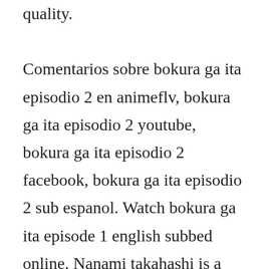quality. Comentarios sobre bokura ga ita episodio 2 en animeflv, bokura ga ita episodio 2 youtube, bokura ga ita episodio 2 facebook, bokura ga ita episodio 2 sub espanol. Watch bokura ga ita episode 1 english subbed online. Nanami takahashi is a high school student entering her first year. I rarely watch these kinds of romancey animes, but recently ive grown fond of them since they tend to be short 2030 episodes, cute, and funny. Naruto next generations tensei shitara slime datta ken one piece. Selamat mendownload anime bokura ga